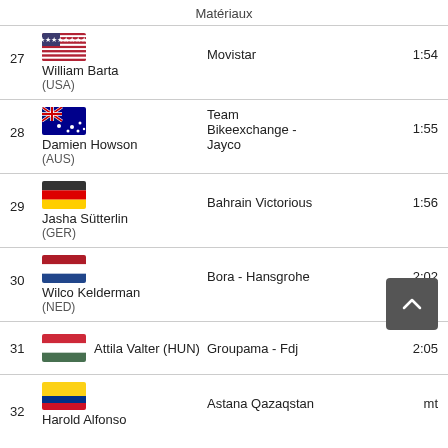Matériaux
| # | Rider | Team | Time |
| --- | --- | --- | --- |
| 27 | William Barta (USA) | Movistar | 1:54 |
| 28 | Damien Howson (AUS) | Team Bikeexchange - Jayco | 1:55 |
| 29 | Jasha Sütterlin (GER) | Bahrain Victorious | 1:56 |
| 30 | Wilco Kelderman (NED) | Bora - Hansgrohe | 2:02 |
| 31 | Attila Valter (HUN) | Groupama - Fdj | 2:05 |
| 32 | Harold Alfonso | Astana Qazaqstan | mt |